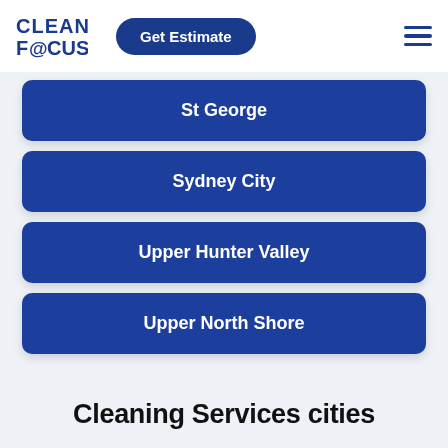[Figure (logo): Clean Focus logo with circular arrow in the letter O]
Get Estimate
St George
Sydney City
Upper Hunter Valley
Upper North Shore
Cleaning Services cities